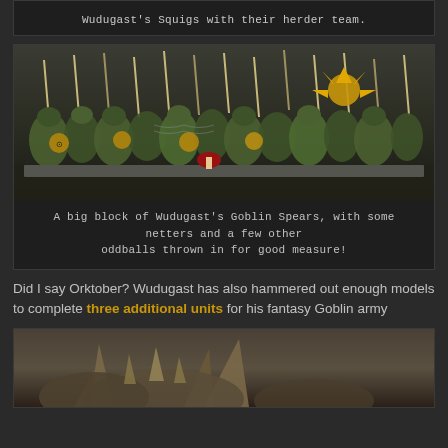Wudugast's Squigs with their herder team.
[Figure (photo): A big block of Wudugast's Goblin Spears miniatures with netters and other models, painted in green and yellow colors with spikes and banners.]
A big block of Wudugast's Goblin Spears, with some netters and a few other oddballs thrown in for good measure!
Did I say Orktober? Wudugast has also hammered out enough models to complete three additional units for his fantasy Goblin army
[Figure (photo): Close-up photo of fantasy miniature models, showing horned/spiked creatures.]